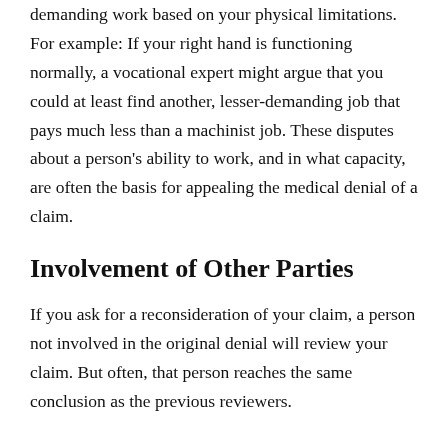demanding work based on your physical limitations. For example: If your right hand is functioning normally, a vocational expert might argue that you could at least find another, lesser-demanding job that pays much less than a machinist job. These disputes about a person's ability to work, and in what capacity, are often the basis for appealing the medical denial of a claim.
Involvement of Other Parties
If you ask for a reconsideration of your claim, a person not involved in the original denial will review your claim. But often, that person reaches the same conclusion as the previous reviewers.